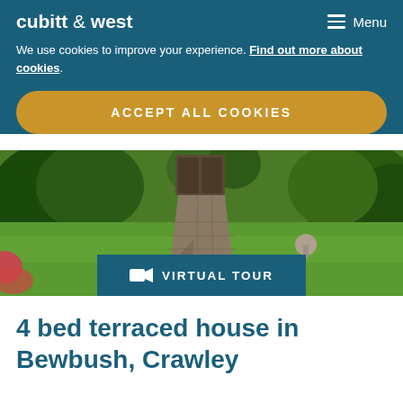cubitt & west
We use cookies to improve your experience. Find out more about cookies.
ACCEPT ALL COOKIES
[Figure (photo): Garden photo showing a brick pathway leading through a lush green garden with hedges and plants, with a Virtual Tour button overlay]
4 bed terraced house in Bewbush, Crawley